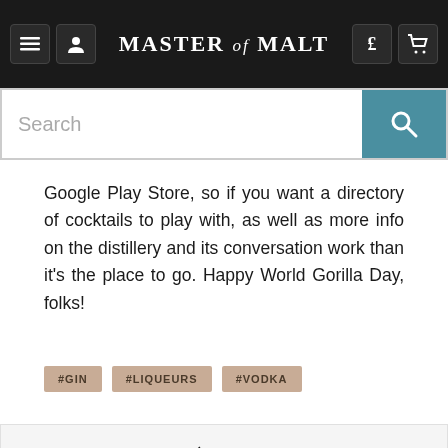Master of Malt
Google Play Store, so if you want a directory of cocktails to play with, as well as more info on the distillery and its conversation work than it's the place to go. Happy World Gorilla Day, folks!
#GIN
#LIQUEURS
#VODKA
LIKE
TWEET
PIN